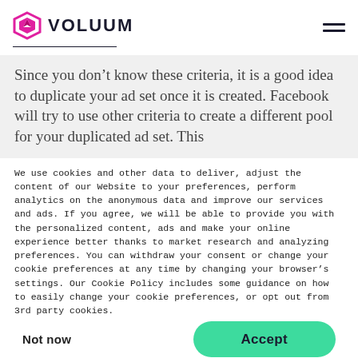VOLUUM
Since you don't know these criteria, it is a good idea to duplicate your ad set once it is created. Facebook will try to use other criteria to create a different pool for your duplicated ad set. This
We use cookies and other data to deliver, adjust the content of our Website to your preferences, perform analytics on the anonymous data and improve our services and ads. If you agree, we will be able to provide you with the personalized content, ads and make your online experience better thanks to market research and analyzing preferences. You can withdraw your consent or change your cookie preferences at any time by changing your browser's settings. Our Cookie Policy includes some guidance on how to easily change your cookie preferences, or opt out from 3rd party cookies.
Not now
Accept